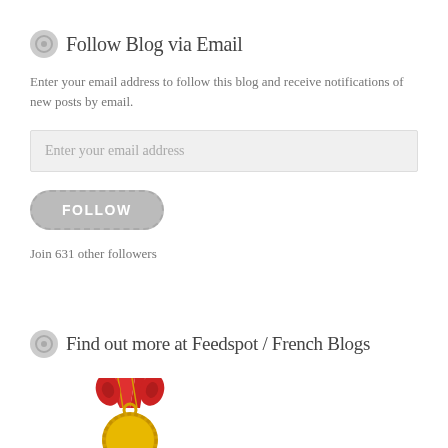Follow Blog via Email
Enter your email address to follow this blog and receive notifications of new posts by email.
Enter your email address
FOLLOW
Join 631 other followers
Find out more at Feedspot / French Blogs
[Figure (illustration): A gold medal with a red and gold ribbon at the top, partially cropped at the bottom of the page.]